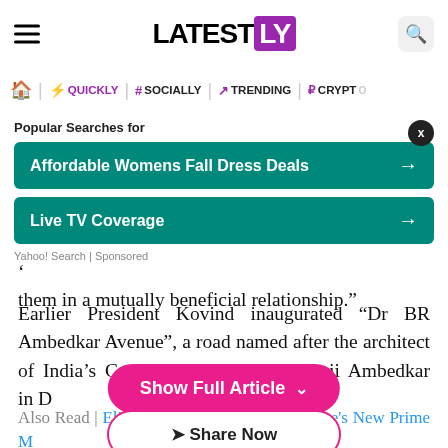LATESTLY
QUICKLY | # SOCIALLY | TRENDING | CRYPTO
[Figure (screenshot): Advertisement section with 'Popular Searches for' label, two teal buttons: 'Affordable Womens Fall Dress Deals' and 'Live TV Coverage', Yahoo! Search | Sponsored label, and a close X button]
them in a mutually beneficial relationship."
Earlier President Kovind inaugurated "Dr BR Ambedkar Avenue", a road named after the architect of India's Constitution, Bhimrao Ramji Ambedkar in D
[Figure (screenshot): Pink pill-shaped 'Show Full Article' button with chevron]
Also Read | Elisabeth Borne Appointed France's New Prime M
[Figure (screenshot): White pill-shaped 'Share Now' button with pink border and share icon]